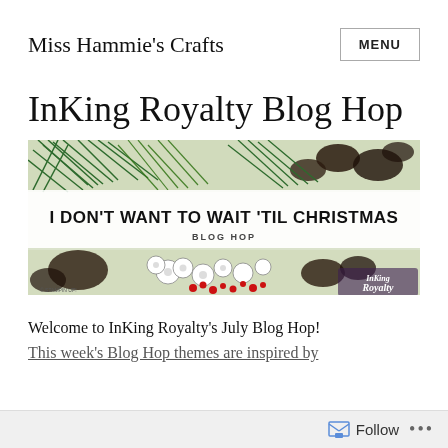Miss Hammie's Crafts
InKing Royalty Blog Hop
[Figure (illustration): Blog hop banner image with Christmas floral/botanical design (pine branches, pinecones, red berries). Text reads 'I DON'T WANT TO WAIT 'TIL CHRISTMAS BLOG HOP' and 'InKing Royalty' logo on the right.]
Welcome to InKing Royalty's July Blog Hop!
This week's Blog Hop themes are inspired by